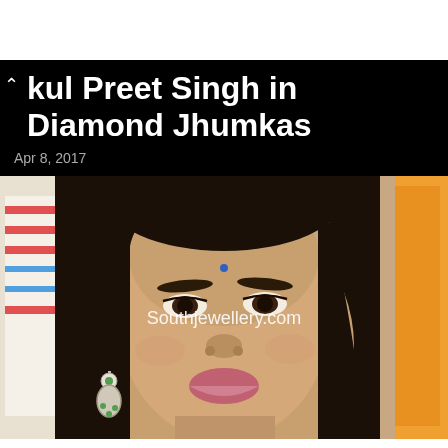kul Preet Singh in Diamond Jhumkas
Apr 8, 2017
[Figure (photo): Close-up portrait of a woman (Preethi Singh) wearing diamond jhumka earrings, with a small blue bindi on her forehead, dark hair, smiling. Colorful background with clothing/fabric. Watermark: Southjewellery.com]